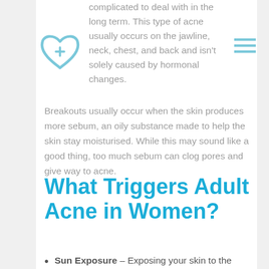[Figure (logo): Light blue heart with a health cross/plus symbol icon]
[Figure (other): Three horizontal lines hamburger menu icon in light blue]
complicated to deal with in the long term. This type of acne usually occurs on the jawline, neck, chest, and back and isn't solely caused by hormonal changes.
Breakouts usually occur when the skin produces more sebum, an oily substance made to help the skin stay moisturised. While this may sound like a good thing, too much sebum can clog pores and give way to acne.
What Triggers Adult Acne in Women?
Sun Exposure – Exposing your skin to the